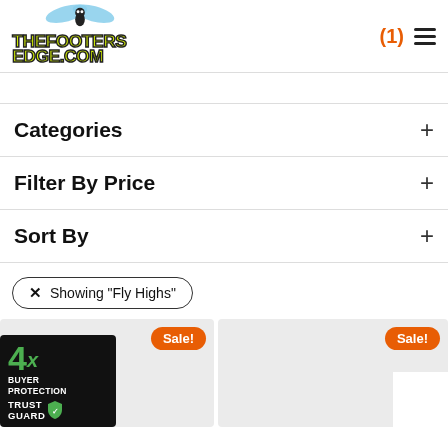[Figure (logo): ThefootersEdge.com logo with cartoon fly character and yellow-green graffiti text]
(1)
Categories +
Filter By Price +
Sort By +
× Showing "Fly Highs"
[Figure (logo): 4x Buyer Protection Trust Guard badge]
Sale!
Sale!